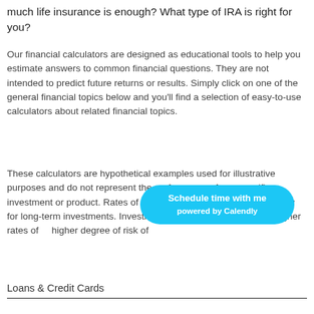much life insurance is enough? What type of IRA is right for you?
Our financial calculators are designed as educational tools to help you estimate answers to common financial questions. They are not intended to predict future returns or results. Simply click on one of the general financial topics below and you'll find a selection of easy-to-use calculators about related financial topics.
These calculators are hypothetical examples used for illustrative purposes and do not represent the performance of any specific investment or product. Rates of return will vary over time, particularly for long-term investments. Investments offering the potential for higher rates of return also involve a higher degree of risk of loss.
[Figure (other): Calendly scheduling button overlay: 'Schedule time with me powered by Calendly' on a bright blue rounded pill button]
Loans & Credit Cards